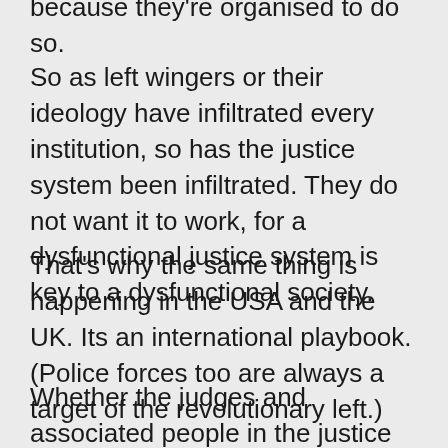because they're organised to do so.
So as left wingers or their ideology have infiltrated every institution, so has the justice system been infiltrated. They do not want it to work, for a dysfunctional justice system is key to a dysfunctional society.
That’s why the same thing is happening in the USA and the UK. Its an international playbook. (Police forces too are always a target of the revolutionary left.)
Whether the judges and associated people in the justice system realise this or not doesn’t matter, because they’re either on board with it or being manipulated. The Justice system is deliberately dysfunctional